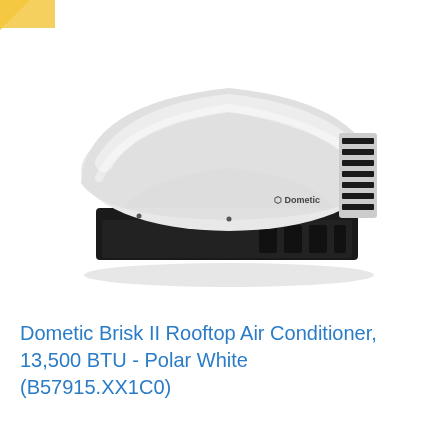[Figure (photo): Dometic Brisk II rooftop air conditioner unit in polar white color with black base, shown in 3/4 perspective view. The unit has a smooth rounded white plastic shell on top with vertical vents on the side and the Dometic brand logo visible.]
Dometic Brisk II Rooftop Air Conditioner, 13,500 BTU - Polar White (B57915.XX1C0)